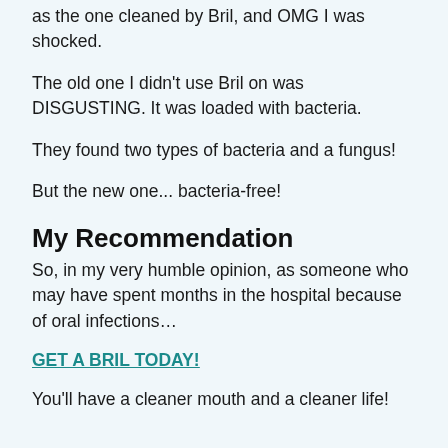as the one cleaned by Bril, and OMG I was shocked.
The old one I didn't use Bril on was DISGUSTING. It was loaded with bacteria.
They found two types of bacteria and a fungus!
But the new one... bacteria-free!
My Recommendation
So, in my very humble opinion, as someone who may have spent months in the hospital because of oral infections…
GET A BRIL TODAY!
You'll have a cleaner mouth and a cleaner life!